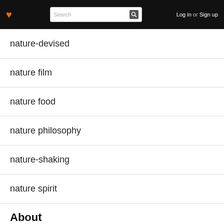♥  Search  Log in or Sign up
nature-devised
nature film
nature food
nature philosophy
nature-shaking
nature spirit
About